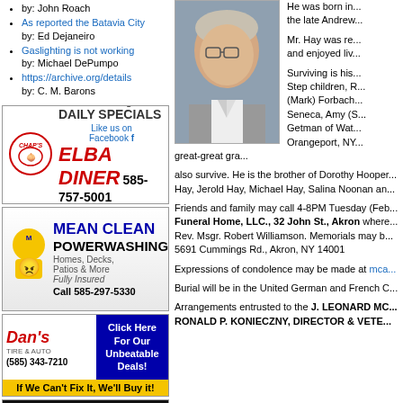by: John Roach
As reported the Batavia City by: Ed Dejaneiro
Gaslighting is not working by: Michael DePumpo
https://archive.org/details by: C. M. Barons
[Figure (photo): Advertisement for Chap's Elba Diner & Catering with phone number 585-757-5001]
[Figure (photo): Advertisement for Mean Clean Powerwashing, Call 585-297-5330]
[Figure (photo): Advertisement for Dan's Tire & Auto, (585) 343-7210, If We Can't Fix It, We'll Buy it!]
[Figure (photo): Advertisement for Fox Prowl Collectibles with green and purple neon-style text]
[Figure (photo): Portrait photo of elderly man in glasses and grey suit jacket]
He was born in... the late Andrew... Mr. Hay was re... and enjoyed liv... Surviving is his... Step children, R... (Mark) Forbach... Seneca, Amy (S... Getman of Wat... Orangeport, NY... great-great gra... also survive. He is the brother of Dorothy Hooper... Hay, Jerold Hay, Michael Hay, Salina Noonan an...
Friends and family may call 4-8PM Tuesday (Feb... Funeral Home, LLC., 32 John St., Akron where... Rev. Msgr. Robert Williamson. Memorials may b... 5691 Cummings Rd., Akron, NY  14001
Expressions of condolence may be made at mca...
Burial will be in the United German and French C...
Arrangements entrusted to the J. LEONARD MC... RONALD P. KONIECZNY, DIRECTOR & VETE...